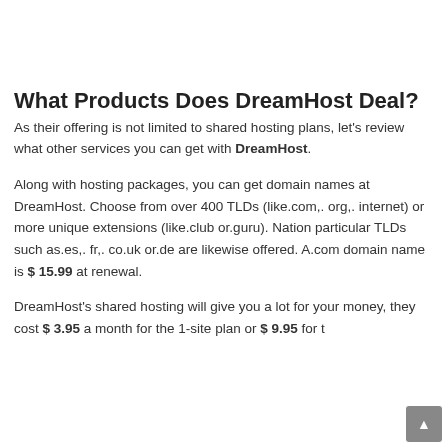What Products Does DreamHost Deal?
As their offering is not limited to shared hosting plans, let's review what other services you can get with DreamHost.
Along with hosting packages, you can get domain names at DreamHost. Choose from over 400 TLDs (like.com,. org,. internet) or more unique extensions (like.club or.guru). Nation particular TLDs such as.es,. fr,. co.uk or.de are likewise offered. A.com domain name is $ 15.99 at renewal.
DreamHost's shared hosting will give you a lot for your money, they cost $ 3.95 a month for the 1-site plan or $ 9.95 for t…